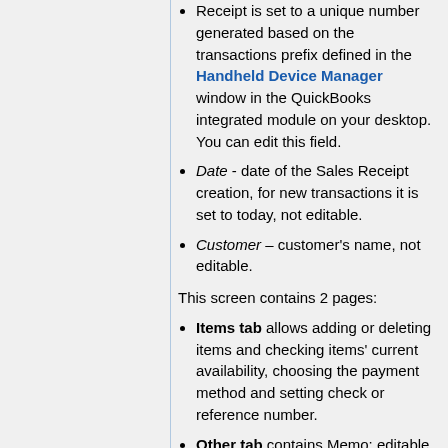Sales No. - the number of the Sales Receipt is set to a unique number generated based on the transactions prefix defined in the Handheld Device Manager window in the QuickBooks integrated module on your desktop. You can edit this field.
Date - date of the Sales Receipt creation, for new transactions it is set to today, not editable.
Customer – customer's name, not editable.
This screen contains 2 pages:
Items tab allows adding or deleting items and checking items' current availability, choosing the payment method and setting check or reference number.
Other tab contains Memo: editable field, up to 100 characters.